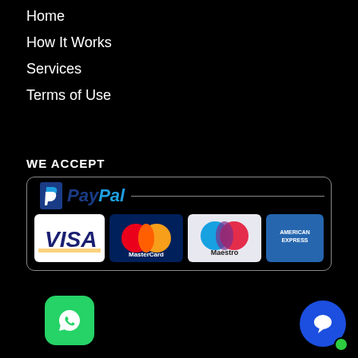Home
How It Works
Services
Terms of Use
WE ACCEPT
[Figure (logo): Payment methods box showing PayPal, Visa, MasterCard, Maestro, and American Express logos]
[Figure (logo): WhatsApp icon button (green rounded square with white phone/chat logo)]
[Figure (logo): Blue chat bubble button with green online dot]